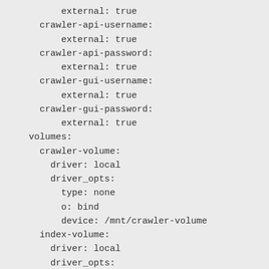external: true
    crawler-api-username:
        external: true
    crawler-api-password:
        external: true
    crawler-gui-username:
        external: true
    crawler-gui-password:
        external: true
  volumes:
    crawler-volume:
      driver: local
      driver_opts:
        type: none
        o: bind
        device: /mnt/crawler-volume
    index-volume:
      driver: local
      driver_opts: